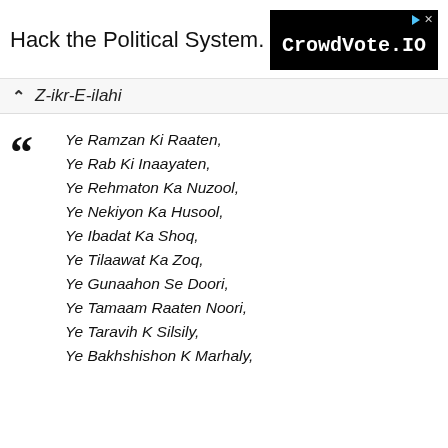Hack the Political System.
[Figure (other): CrowdVote.IO advertisement banner with black background]
Z-ikr-E-ilahi
Ye Ramzan Ki Raaten,
Ye Rab Ki Inaayaten,
Ye Rehmaton Ka Nuzool,
Ye Nekiyon Ka Husool,
Ye Ibadat Ka Shoq,
Ye Tilaawat Ka Zoq,
Ye Gunaahon Se Doori,
Ye Tamaam Raaten Noori,
Ye Taravih K Silsily,
Ye Bakhshishon K Marhaly,